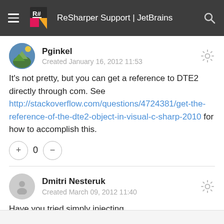ReSharper Support | JetBrains
Pginkel
Created January 16, 2012 11:53
It's not pretty, but you can get a reference to DTE2 directly through com. See http://stackoverflow.com/questions/4724381/get-the-reference-of-the-dte2-object-in-visual-c-sharp-2010 for how to accomplish this.
Dmitri Nesteruk
Created March 09, 2012 11:40
Have you tried simply injecting